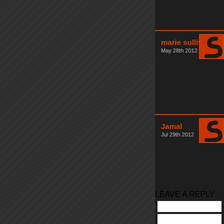marie sullivan
May 28th 2012
Jamal
Jul 29th 2012
LEAVE A REPLY